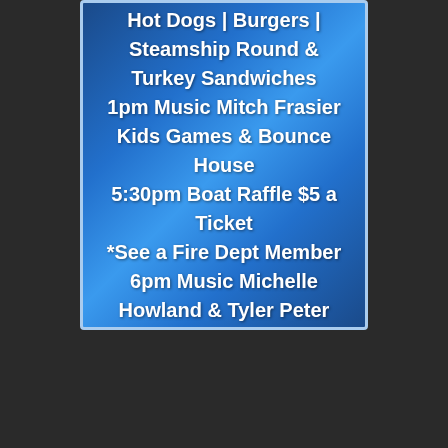Hot Dogs | Burgers | Steamship Round & Turkey Sandwiches
1pm Music Mitch Frasier
Kids Games & Bounce House
5:30pm Boat Raffle $5 a Ticket
*See a Fire Dept Member
6pm Music Michelle Howland & Tyler Peter
[Figure (photo): Foggy misty outdoor scene with a bright sun glowing through fog on the right side, silhouetted treeline on the right, and a dock or structure silhouette at the bottom left. Black and white / grayscale tones.]